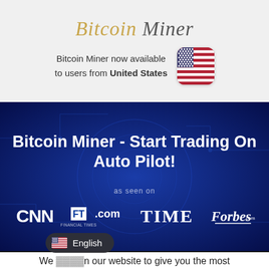Bitcoin Miner
Bitcoin Miner now available to users from United States
[Figure (illustration): US flag emoji with rounded corners]
[Figure (screenshot): Blue circuit board background banner with bold white text reading 'Bitcoin Miner - Start Trading On Auto Pilot!' and media logos CNN, FT.com Financial Times, TIME, Forbes.com with 'as seen on' label above]
[Figure (illustration): Language selector pill showing US flag and 'English' text on dark background]
We use cookies on our website to give you the most